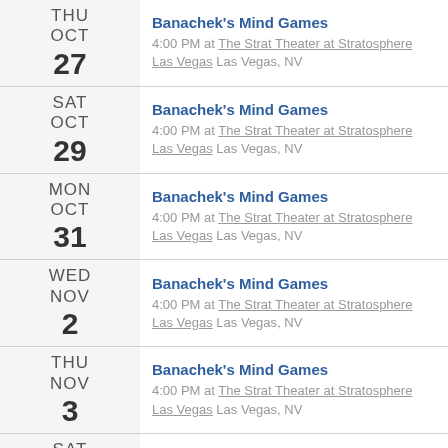THU OCT 27 — Banachek's Mind Games — 4:00 PM at The Strat Theater at Stratosphere Las Vegas Las Vegas, NV
SAT OCT 29 — Banachek's Mind Games — 4:00 PM at The Strat Theater at Stratosphere Las Vegas Las Vegas, NV
MON OCT 31 — Banachek's Mind Games — 4:00 PM at The Strat Theater at Stratosphere Las Vegas Las Vegas, NV
WED NOV 2 — Banachek's Mind Games — 4:00 PM at The Strat Theater at Stratosphere Las Vegas Las Vegas, NV
THU NOV 3 — Banachek's Mind Games — 4:00 PM at The Strat Theater at Stratosphere Las Vegas Las Vegas, NV
SAT NOV 5 — Banachek's Mind Games — 4:00 PM at The Strat Theater at Stratosphere Las Vegas Las Vegas, NV
SUN ...